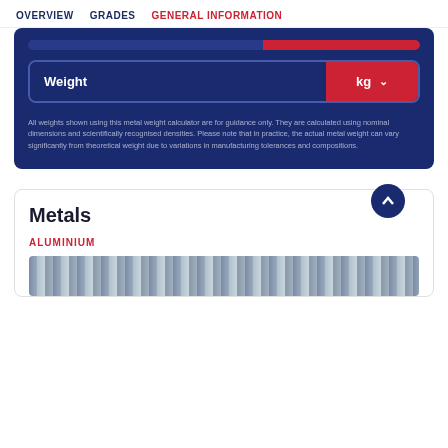OVERVIEW   GRADES   GENERAL INFORMATION
Weight   kg
All weights shown using this metal weight calculator are for guidance only. They are calculated using nominal dimensions and scientifically recognised densities. Please note that in practice, the actual metal weight can vary significantly from theoretical weight due to variations in manufacturing tolerances and compositions.
Metals
ALUMINIUM
[Figure (photo): Photo of aluminium metal tubes/bars]